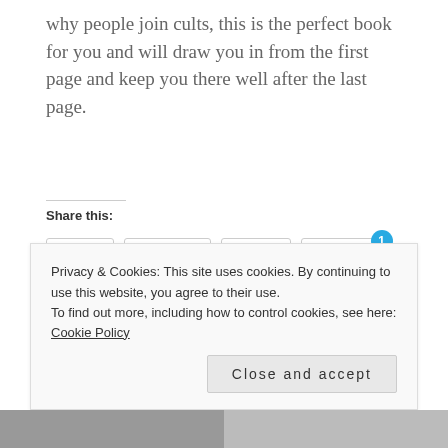why people join cults, this is the perfect book for you and will draw you in from the first page and keep you there well after the last page.
Share this:
Twitter  Facebook  Tumblr  Pinterest 1
Privacy & Cookies: This site uses cookies. By continuing to use this website, you agree to their use.
To find out more, including how to control cookies, see here: Cookie Policy
Close and accept
[Figure (photo): Bottom strip showing partial images, left side appears to show a device/screen, right side shows hands]